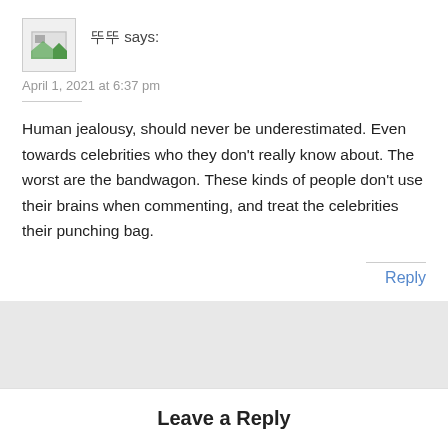[Figure (other): Avatar placeholder image with broken image icon]
뚜뚜 says:
April 1, 2021 at 6:37 pm
Human jealousy, should never be underestimated. Even towards celebrities who they don't really know about. The worst are the bandwagon. These kinds of people don't use their brains when commenting, and treat the celebrities their punching bag.
Reply
Leave a Reply
Enter your comment here...